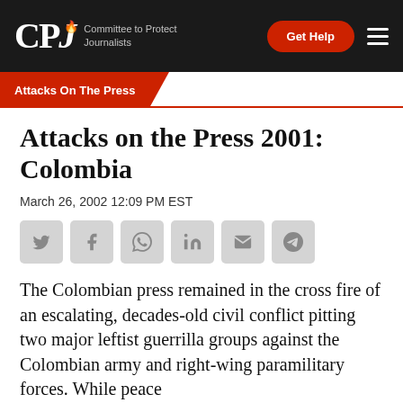CPJ — Committee to Protect Journalists
Attacks On The Press
Attacks on the Press 2001: Colombia
March 26, 2002 12:09 PM EST
[Figure (other): Social sharing buttons: Twitter, Facebook, WhatsApp, LinkedIn, Email, Telegram]
The Colombian press remained in the cross fire of an escalating, decades-old civil conflict pitting two major leftist guerrilla groups against the Colombian army and right-wing paramilitary forces. While peace